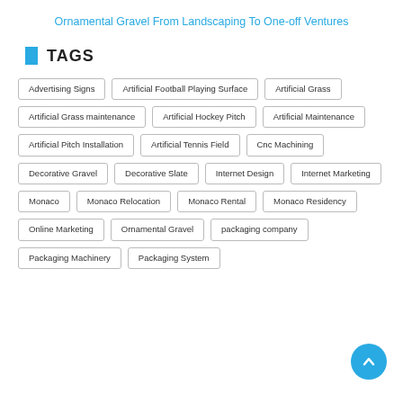Ornamental Gravel From Landscaping To One-off Ventures
TAGS
Advertising Signs
Artificial Football Playing Surface
Artificial Grass
Artificial Grass maintenance
Artificial Hockey Pitch
Artificial Maintenance
Artificial Pitch Installation
Artificial Tennis Field
Cnc Machining
Decorative Gravel
Decorative Slate
Internet Design
Internet Marketing
Monaco
Monaco Relocation
Monaco Rental
Monaco Residency
Online Marketing
Ornamental Gravel
packaging company
Packaging Machinery
Packaging System